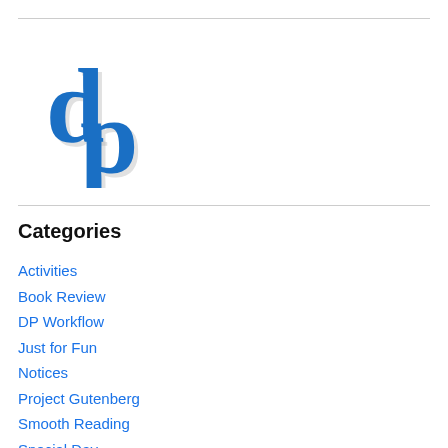[Figure (logo): DP logo in blue serif font, letters 'd' and 'p' overlapping, with a drop shadow effect]
Categories
Activities
Book Review
DP Workflow
Just for Fun
Notices
Project Gutenberg
Smooth Reading
Special Day
Uncategorized